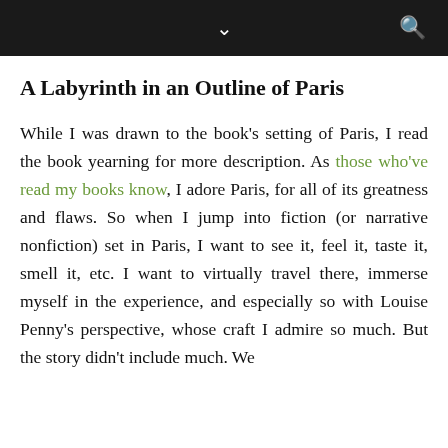A Labyrinth in an Outline of Paris
While I was drawn to the book's setting of Paris, I read the book yearning for more description. As those who've read my books know, I adore Paris, for all of its greatness and flaws. So when I jump into fiction (or narrative nonfiction) set in Paris, I want to see it, feel it, taste it, smell it, etc. I want to virtually travel there, immerse myself in the experience, and especially so with Louise Penny's perspective, whose craft I admire so much. But the story didn't include much. We